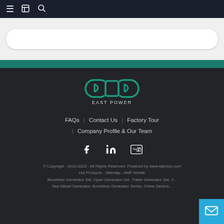≡  📋  🔍
[Figure (screenshot): Search input box with rounded corners on light gray background]
[Figure (logo): East Power logo - teal oval/capsule shape with 'EAST POWER' text below]
FAQs | Contact Us | Factory Tour | Company Profile & Our Team
[Figure (infographic): Social media icons: Facebook, LinkedIn, YouTube]
© Copyright - 2010-2022 : All Rights Reserved. Powered by www.tzjinxun.com
Hot Products - Sitemap - AMP Mobile
Brushless Generator Set, Open Generator Set, Trailer Generator Set, Y... 5kw Diesel Generator, Brushless Generator Series, China Genera...